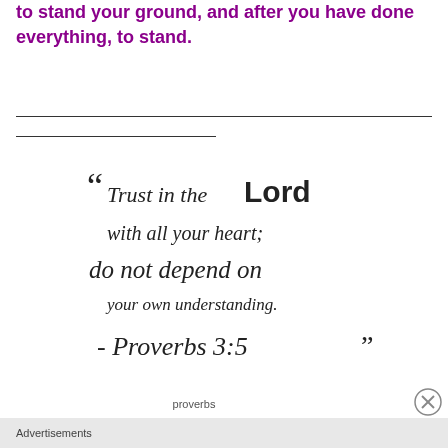to stand your ground, and after you have done everything, to stand.
[Figure (illustration): Decorative typographic quote image: "Trust in the Lord with all your heart; do not depend on your own understanding. - Proverbs 3:5" rendered in mixed handwritten and bold display fonts on white background.]
proverbs
Advertisements